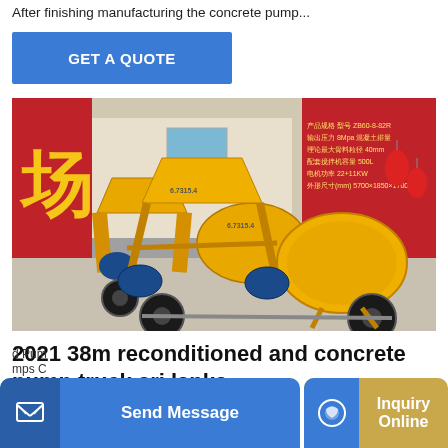After finishing manufacturing the concrete pump...
[Figure (other): Blue button with white text reading GET A QUOTE]
[Figure (photo): Photo of yellow concrete pump mixer trucks parked in front of a building with red Chinese banners and signage]
2021 38m reconditioned and concrete pump truck sri lanka
d Pum
mps C
Feature: 1 Compact in design, 38m pump mounted on a 2...
[Figure (other): Blue Send Message button with icon]
[Figure (other): Gold/tan Inquiry Online button with blue icon]